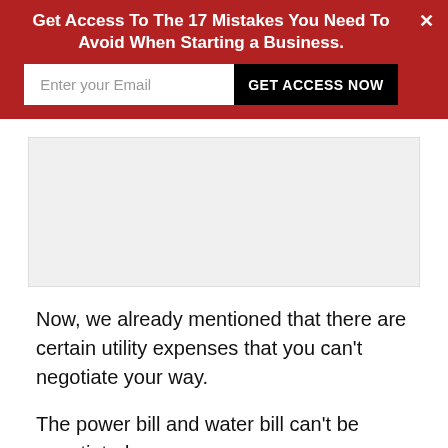[Figure (infographic): Red banner popup with title 'Get Access To The 17 Mistakes You Need To Avoid When Starting a Business.' with email input field and black 'GET ACCESS NOW' button, and a white X close button in the top right corner.]
[Figure (other): Light gray image placeholder rectangle below the banner.]
Now, we already mentioned that there are certain utility expenses that you can't negotiate your way.
The power bill and water bill can't be negotiated.
This is because these utility bills usually have statutory fixed rates or prices.